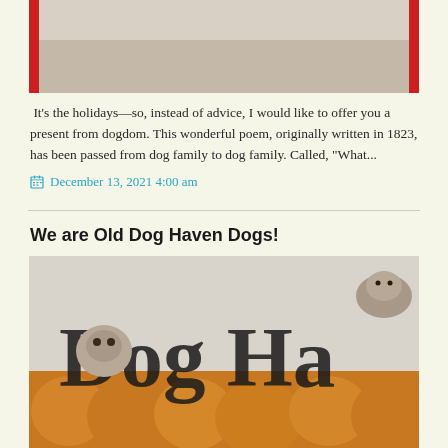[Figure (photo): Partial photo of a dog (bottom portion visible) with red elements on sides, cropped at top]
It's the holidays—so, instead of advice, I would like to offer you a present from dogdom. This wonderful poem, originally written in 1823, has been passed from dog family to dog family. Called, "What...
December 13, 2021 4:00 am
We are Old Dog Haven Dogs!
[Figure (photo): Photo showing 'Dog Haven' text logo with dogs and pumpkins in background]